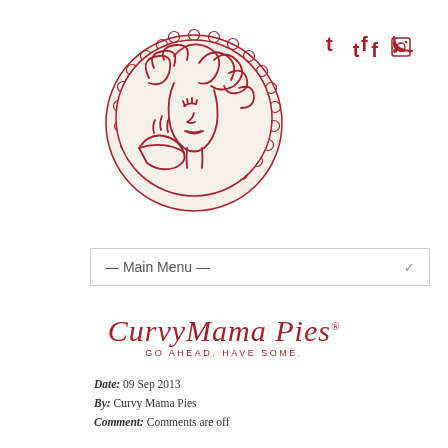[Figure (logo): Curvy Mama Pies circular logo — cream-colored scalloped circle with red line art of a woman's face with curly hair holding a pie]
[Figure (infographic): Social media icons: Twitter (t), Facebook (f), RSS feed symbol in dark red/crimson color]
[Figure (screenshot): Main Menu dropdown selector with arrow]
[Figure (logo): Curvy Mama Pies text logo in red italic script with tagline GO AHEAD. HAVE SOME.]
Date: 09 Sep 2013
By: Curvy Mama Pies
Comment: Comments are off